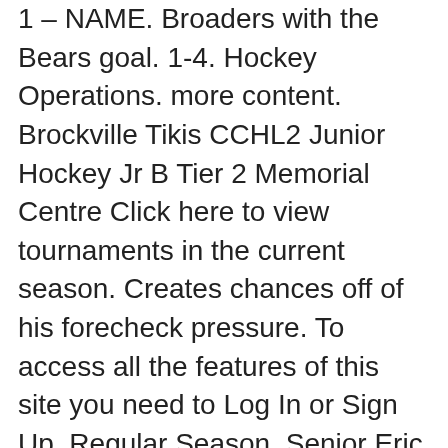1 – NAME. Broaders with the Bears goal. 1-4. Hockey Operations. more content. Brockville Tikis CCHL2 Junior Hockey Jr B Tier 2 Memorial Centre Click here to view tournaments in the current season. Creates chances off of his forecheck pressure. To access all the features of this site you need to Log In or Sign Up. Regular Season. Senior Eric Holland (Whitby, ON/Brockville Braves (CCHL)) led the way with two goals, including the anticipated Teddy Bear Toss goal, and the Pioneers cruised to a wire-to-wire win by an 8-0 score over visiting King's College in the 17th ... 2018-19 Brockville Braves Results and Schedule. The Bears who are locally owned, operated and supported provide ... Defenceman Eric Chamandy Signs With The Hawks. Standings. OTTAWA, ON - Selected in the 2nd round of the 2021 Central Canada Hockey League Bantam Protected Draft by the Navan Grads, for [...] HEO U18 AAA ROOKIE SPOTLIGHT | DEAN LETOURNEAU | RENFREW